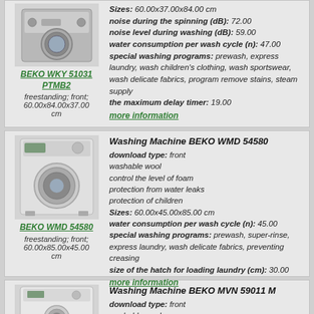[Figure (photo): Washing machine BEKO WKY 51031 PTMB2, front-loading, silver/grey color]
BEKO WKY 51031 PTMB2
freestanding; front; 60.00x84.00x37.00 cm
Sizes: 60.00x37.00x84.00 cm
noise during the spinning (dB): 72.00
noise level during washing (dB): 59.00
water consumption per wash cycle (n): 47.00
special washing programs: prewash, express laundry, wash children's clothing, wash sportswear, wash delicate fabrics, program remove stains, steam supply
the maximum delay timer: 19.00
more information
[Figure (photo): Washing machine BEKO WMD 54580, front-loading, white color]
BEKO WMD 54580
freestanding; front; 60.00x85.00x45.00 cm
Washing Machine BEKO WMD 54580
download type: front
washable wool
control the level of foam
protection from water leaks
protection of children
Sizes: 60.00x45.00x85.00 cm
water consumption per wash cycle (n): 45.00
special washing programs: prewash, super-rinse, express laundry, wash delicate fabrics, preventing creasing
size of the hatch for loading laundry (cm): 30.00
more information
[Figure (photo): Washing machine BEKO MVN 59011 M, front-loading, white color]
Washing Machine BEKO MVN 59011 M
download type: front
washable wool
control the level of foam